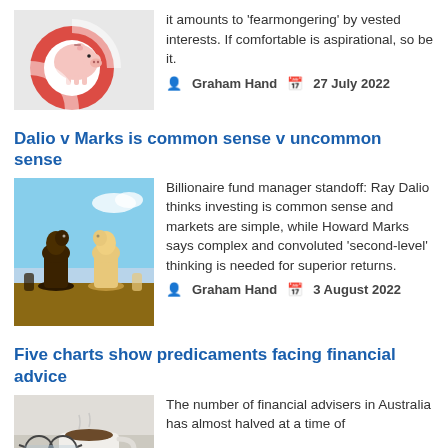[Figure (photo): Piggy bank on a red and white life preserver ring]
it amounts to 'fearmongering' by vested interests. If comfortable is aspirational, so be it.
Graham Hand   27 July 2022
Dalio v Marks is common sense v uncommon sense
[Figure (photo): Two chess knight pieces facing each other, one dark and one light]
Billionaire fund manager standoff: Ray Dalio thinks investing is common sense and markets are simple, while Howard Marks says complex and convoluted 'second-level' thinking is needed for superior returns.
Graham Hand   3 August 2022
Five charts show predicaments facing financial advice
[Figure (photo): Coffee cup and glasses on a table]
The number of financial advisers in Australia has almost halved at a time of